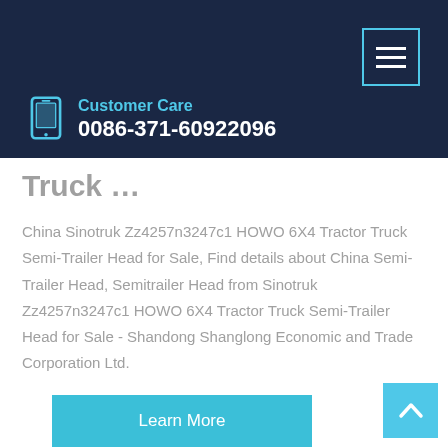Customer Care 0086-371-60922096
HOWO 6X4 Tractor Truck …
China Sinotruk Zz4257n3247c1 HOWO 6X4 Tractor Truck Semi-Trailer Head for Sale, Find details about China Semi-Trailer Head, Semitrailer Head from Sinotruk Zz4257n3247c1 HOWO 6X4 Tractor Truck Semi-Trailer Head for Sale - Shandong Shanglong Economic and Trade Corporation Ltd.